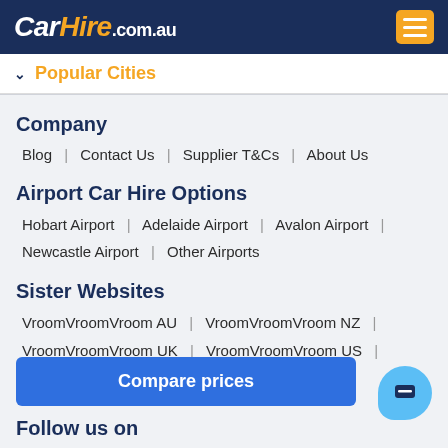CarHire.com.au
Popular Cities
Company
Blog | Contact Us | Supplier T&Cs | About Us
Airport Car Hire Options
Hobart Airport | Adelaide Airport | Avalon Airport | Newcastle Airport | Other Airports
Sister Websites
VroomVroomVroom AU | VroomVroomVroom NZ | VroomVroomVroom UK | VroomVroomVroom US | VroomVroomVroom CA
Compare prices
Follow us on